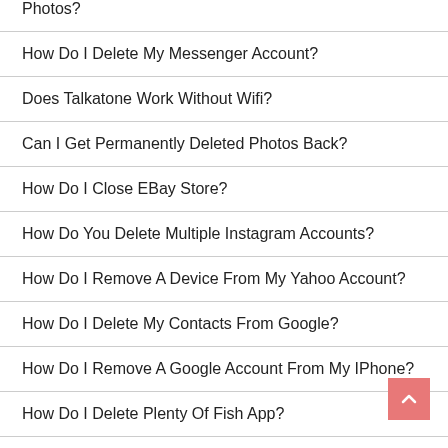Photos?
How Do I Delete My Messenger Account?
Does Talkatone Work Without Wifi?
Can I Get Permanently Deleted Photos Back?
How Do I Close EBay Store?
How Do You Delete Multiple Instagram Accounts?
How Do I Remove A Device From My Yahoo Account?
How Do I Delete My Contacts From Google?
How Do I Remove A Google Account From My IPhone?
How Do I Delete Plenty Of Fish App?
Can A Business Be Removed From Yelp?